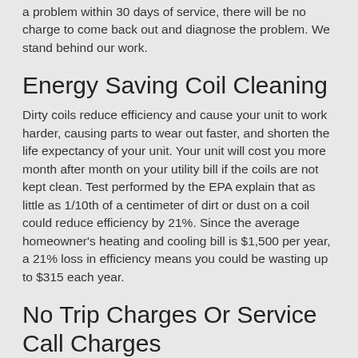a problem within 30 days of service, there will be no charge to come back out and diagnose the problem. We stand behind our work.
Energy Saving Coil Cleaning
Dirty coils reduce efficiency and cause your unit to work harder, causing parts to wear out faster, and shorten the life expectancy of your unit. Your unit will cost you more month after month on your utility bill if the coils are not kept clean. Test performed by the EPA explain that as little as 1/10th of a centimeter of dirt or dust on a coil could reduce efficiency by 21%. Since the average homeowner's heating and cooling bill is $1,500 per year, a 21% loss in efficiency means you could be wasting up to $315 each year.
No Trip Charges Or Service Call Charges
With most service companies you can expect to pay a trip charge up to $100.00. Our program customers do not have this added expense when they have a service problem.